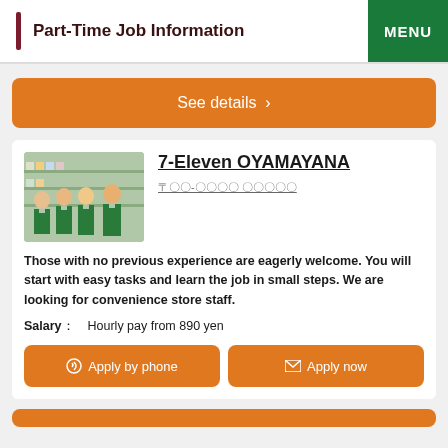Part-Time Job Information
See details ›
7-Eleven OYAMAYANA
〒〇〇-〇〇〇〇 〇〇〇〇〇
Those with no previous experience are eagerly welcome. You will start with easy tasks and learn the job in small steps. We are looking for convenience store staff.
Salary： Hourly pay from 890 yen
Apply by phone
Apply now